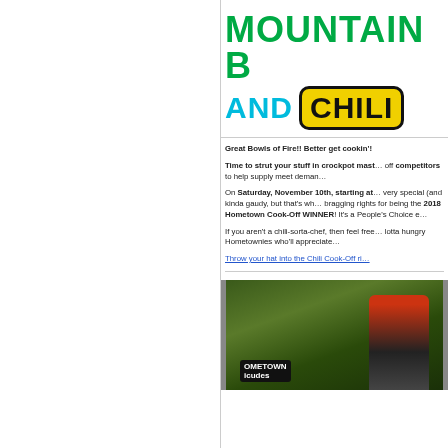[Figure (illustration): Mountain Bike and Chili Cook-Off event banner with green 'MOUNTAIN B' text and cyan 'AND' with yellow badge 'CHILI' text]
Great Bowls of Fire!! Better get cookin'!
Time to strut your stuff in crockpot mast... off competitors to help supply meet deman...
On Saturday, November 10th, starting at... very special (and kinda gaudy, but that's wh... bragging rights for being the 2018 Hometown Cook-Off WINNER! It's a People's Choice e...
If you aren't a chili-sorta-chef, then feel free... lotta hungry Hometownies who'll appreciate...
Throw your hat into the Chili Cook-Off ri...
[Figure (photo): Person wearing Hometown Bicycles branded cycling jersey and gear, smiling, on green grass background]